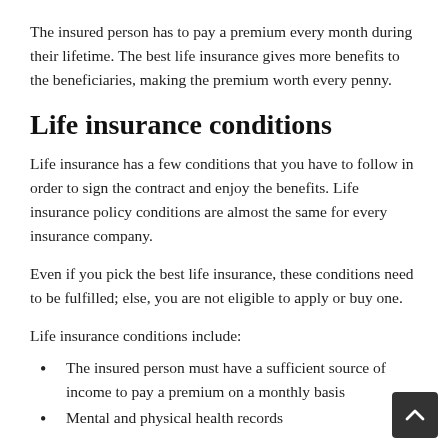The insured person has to pay a premium every month during their lifetime. The best life insurance gives more benefits to the beneficiaries, making the premium worth every penny.
Life insurance conditions
Life insurance has a few conditions that you have to follow in order to sign the contract and enjoy the benefits. Life insurance policy conditions are almost the same for every insurance company.
Even if you pick the best life insurance, these conditions need to be fulfilled; else, you are not eligible to apply or buy one.
Life insurance conditions include:
The insured person must have a sufficient source of income to pay a premium on a monthly basis
Mental and physical health records